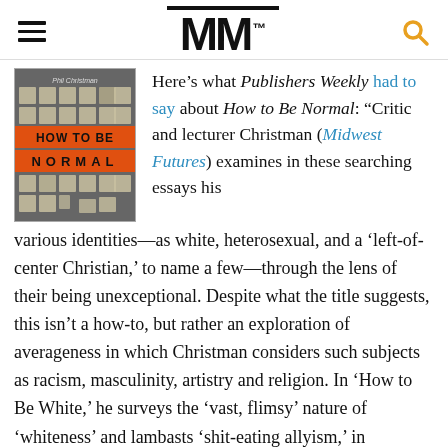MM
[Figure (illustration): Book cover of 'How to Be Normal' by Phil Christman. Dark gray background with a grid pattern of beige/cream squares. Two orange horizontal banner strips with bold black text reading 'HOW TO BE' and 'N O R M A L'. Author name 'Phil Christman' at top.]
Here's what Publishers Weekly had to say about How to Be Normal: "Critic and lecturer Christman (Midwest Futures) examines in these searching essays his various identities—as white, heterosexual, and a 'left-of-center Christian,' to name a few—through the lens of their being unexceptional. Despite what the title suggests, this isn't a how-to, but rather an exploration of averageness in which Christman considers such subjects as racism, masculinity, artistry and religion. In 'How to Be White,' he surveys the 'vast, flimsy' nature of 'whiteness' and lambasts 'shit-eating allyism,' in